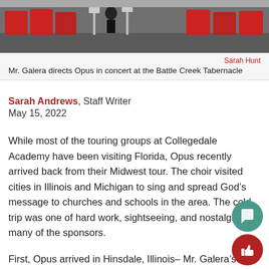[Figure (photo): Photo of Mr. Galera directing Opus choir in concert at the Battle Creek Tabernacle, with red chairs and music stands visible on stage.]
Sarah Hunt
Mr. Galera directs Opus in concert at the Battle Creek Tabernacle
Sarah Andrews, Staff Writer
May 15, 2022
While most of the touring groups at Collegedale Academy have been visiting Florida, Opus recently arrived back from their Midwest tour. The choir visited cities in Illinois and Michigan to sing and spread God’s message to churches and schools in the area. The cold trip was one of hard work, sightseeing, and nostalgia for many of the sponsors.
First, Opus arrived in Hinsdale, Illinois– Mr. Galera’s hometown. Dinner was provided by the Galeras and the choir got to enjoy some Filipino cuisine. The following day they performed at Mr. Galera’s old school, Hinsdale